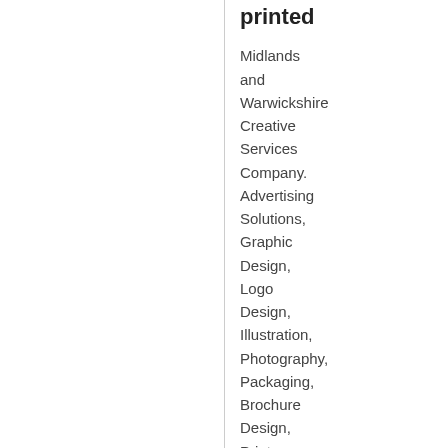printed
Midlands and Warwickshire Creative Services Company. Advertising Solutions, Graphic Design, Logo Design, Illustration, Photography, Packaging, Brochure Design, Print Solutions, Stationery Design and Print, Corporate Identity, Wide Format Printing, Banners, Roller